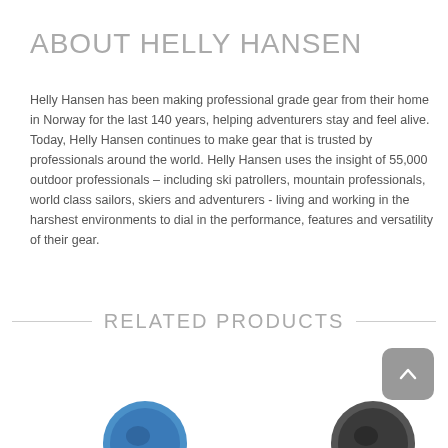ABOUT HELLY HANSEN
Helly Hansen has been making professional grade gear from their home in Norway for the last 140 years, helping adventurers stay and feel alive. Today, Helly Hansen continues to make gear that is trusted by professionals around the world. Helly Hansen uses the insight of 55,000 outdoor professionals – including ski patrollers, mountain professionals, world class sailors, skiers and adventurers - living and working in the harshest environments to dial in the performance, features and versatility of their gear.
RELATED PRODUCTS
[Figure (photo): Blue hat/helmet product image, partially visible at bottom of page]
[Figure (photo): Black hat/helmet product image, partially visible at bottom of page]